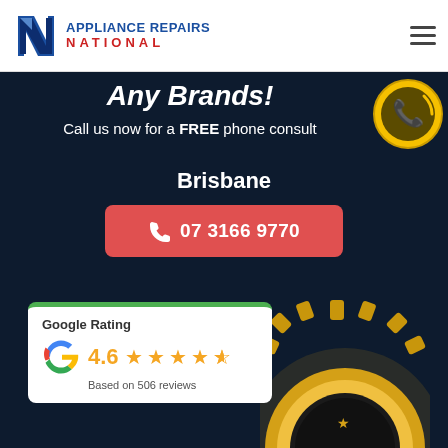[Figure (logo): Appliance Repairs National logo with blue N arrow icon and text]
Any Brands!
Call us now for a FREE phone consult
Brisbane
07 3166 9770
[Figure (illustration): Yellow circle with phone ringing icon]
[Figure (infographic): Google Rating card showing 4.6 stars based on 506 reviews]
[Figure (illustration): Gold guarantee badge partially visible at bottom]